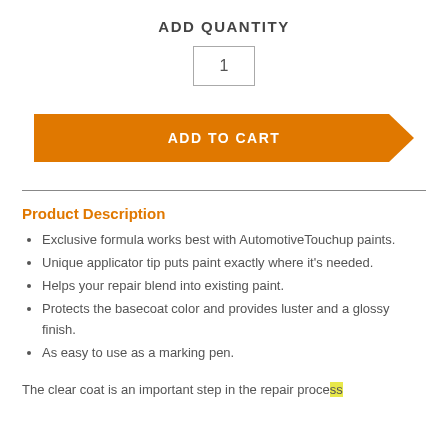ADD QUANTITY
1
[Figure (other): Orange arrow/chevron shaped 'ADD TO CART' button]
Product Description
Exclusive formula works best with AutomotiveTouchup paints.
Unique applicator tip puts paint exactly where it's needed.
Helps your repair blend into existing paint.
Protects the basecoat color and provides luster and a glossy finish.
As easy to use as a marking pen.
The clear coat is an important step in the repair proce...